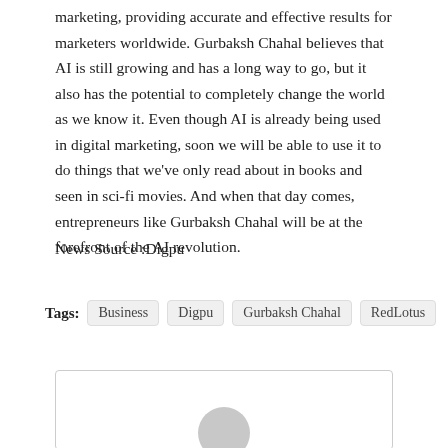marketing, providing accurate and effective results for marketers worldwide. Gurbaksh Chahal believes that AI is still growing and has a long way to go, but it also has the potential to completely change the world as we know it. Even though AI is already being used in digital marketing, soon we will be able to use it to do things that we've only read about in books and seen in sci-fi movies. And when that day comes, entrepreneurs like Gurbaksh Chahal will be at the forefront of the AI revolution.
News Source :Digpu
Tags: Business Digpu Gurbaksh Chahal RedLotus
[Figure (other): Comment/profile box with a grey avatar circle at the bottom center]